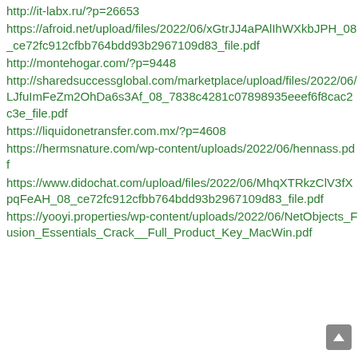http://it-labx.ru/?p=26653
https://afroid.net/upload/files/2022/06/xGtrJJ4aPAlIhWXkbJPH_08_ce72fc912cfbb764bdd93b2967109d83_file.pdf
http://montehogar.com/?p=9448
http://sharedsuccessglobal.com/marketplace/upload/files/2022/06/LJfuImFeZm2OhDa6s3Af_08_7838c4281c07898935eeef6f8cac2c3e_file.pdf
https://liquidonetransfer.com.mx/?p=4608
https://hermsnature.com/wp-content/uploads/2022/06/hennass.pdf
https://www.didochat.com/upload/files/2022/06/MhqXTRkzClV3fXpqFeAH_08_ce72fc912cfbb764bdd93b2967109d83_file.pdf
https://yooyi.properties/wp-content/uploads/2022/06/NetObjects_Fusion_Essentials_Crack__Full_Product_Key_MacWin.pdf